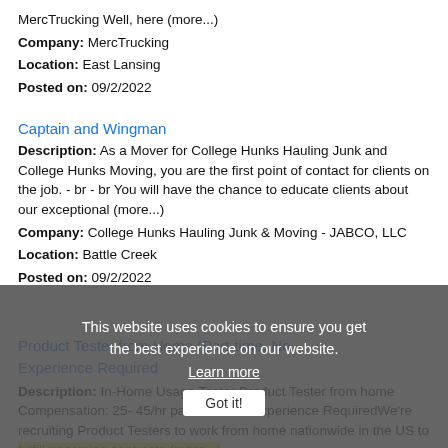MercTrucking Well, here (more...)
Company: MercTrucking
Location: East Lansing
Posted on: 09/2/2022
Captain and Wingman
Description: As a Mover for College Hunks Hauling Junk and College Hunks Moving, you are the first point of contact for clients on the job. - br - br You will have the chance to educate clients about our exceptional (more...)
Company: College Hunks Hauling Junk & Moving - JABCO, LLC
Location: Battle Creek
Posted on: 09/2/2022
Product Tester from Home (Part-time, No Experience Required
Description: In-Home Usage Tester Product Tester from home Compensation: 25- 45/hr part time, No Experience RequiredWe're recruiting Product Testers to work from home nationwide in the US to fulfill upcoming contracts (more...)
Company: American Consumer Panels
Location: East Lansing
Posted on: 09/2/2022
This website uses cookies to ensure you get the best experience on our website. Learn more Got it!